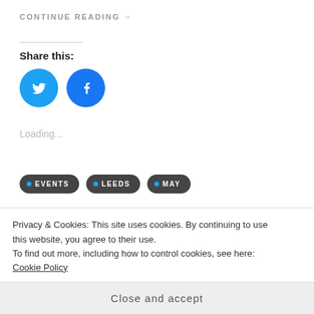CONTINUE READING →
Share this:
[Figure (illustration): Twitter and Facebook social share icon buttons (blue circles with white logos)]
Loading...
• EVENTS
• LEEDS
• MAY
Privacy & Cookies: This site uses cookies. By continuing to use this website, you agree to their use.
To find out more, including how to control cookies, see here: Cookie Policy
Close and accept